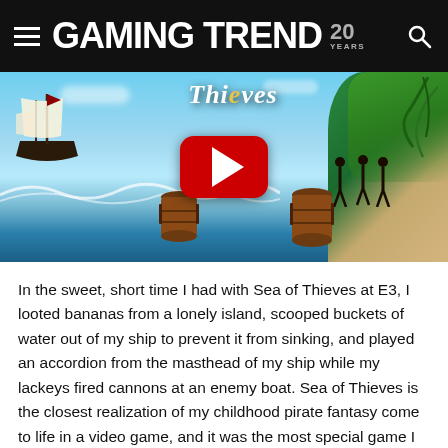GAMING TREND 20 YEARS
[Figure (screenshot): Sea of Thieves game art showing a pirate ship on the left, tropical island on the right, waves and a barrel in the foreground, with a YouTube play button overlay in the center and stylized game title text at the top.]
In the sweet, short time I had with Sea of Thieves at E3, I looted bananas from a lonely island, scooped buckets of water out of my ship to prevent it from sinking, and played an accordion from the masthead of my ship while my lackeys fired cannons at an enemy boat. Sea of Thieves is the closest realization of my childhood pirate fantasy come to life in a video game, and it was the most special game I played during the conference.